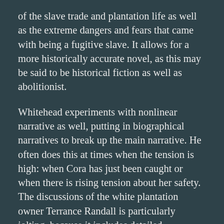of the slave trade and plantation life as well as the extreme dangers and fears that came with being a fugitive slave. It allows for a more historically accurate novel, as this may be said to be historical fiction as well as abolitionist.
Whitehead experiments with nonlinear narrative as well, putting in biographical narratives to break up the main narrative. He often does this at times when the tension is high: when Cora has just been caught or when there is rising tension about her safety. The discussions of the white plantation owner Terrance Randall is particularly jolting, because it includes detailed descriptions of how he had slaves tortured and killed for running away. These details do not come